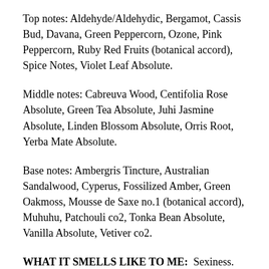Top notes: Aldehyde/Aldehydic, Bergamot, Cassis Bud, Davana, Green Peppercorn, Ozone, Pink Peppercorn, Ruby Red Fruits (botanical accord), Spice Notes, Violet Leaf Absolute.
Middle notes: Cabreuva Wood, Centifolia Rose Absolute, Green Tea Absolute, Juhi Jasmine Absolute, Linden Blossom Absolute, Orris Root, Yerba Mate Absolute.
Base notes: Ambergris Tincture, Australian Sandalwood, Cyperus, Fossilized Amber, Green Oakmoss, Mousse de Saxe no.1 (botanical accord), Muhuhu, Patchouli co2, Tonka Bean Absolute, Vanilla Absolute, Vetiver co2.
WHAT IT SMELLS LIKE TO ME: Sexiness. This was well suited for the warm Mexican nights and for dining al fresco at Merida's lovely restaurants. It made